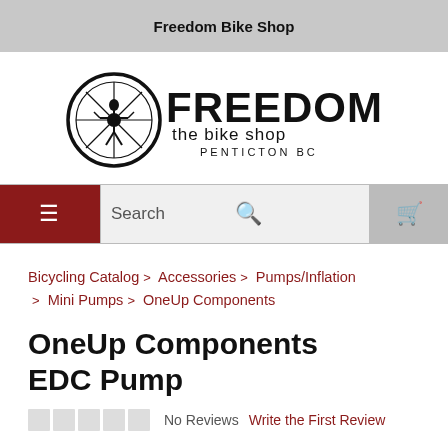Freedom Bike Shop
[Figure (logo): Freedom The Bike Shop Penticton BC logo with circular bicycle wheel emblem and text]
Search
Bicycling Catalog > Accessories > Pumps/Inflation > Mini Pumps > OneUp Components
OneUp Components EDC Pump
No Reviews   Write the First Review